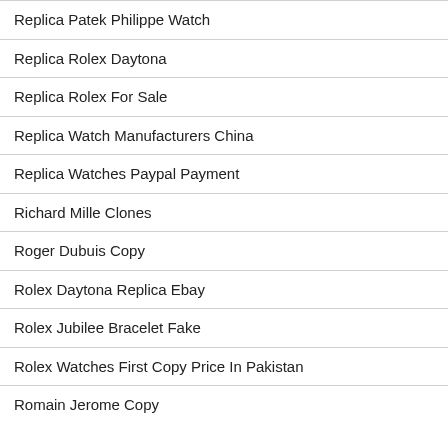Replica Patek Philippe Watch
Replica Rolex Daytona
Replica Rolex For Sale
Replica Watch Manufacturers China
Replica Watches Paypal Payment
Richard Mille Clones
Roger Dubuis Copy
Rolex Daytona Replica Ebay
Rolex Jubilee Bracelet Fake
Rolex Watches First Copy Price In Pakistan
Romain Jerome Copy